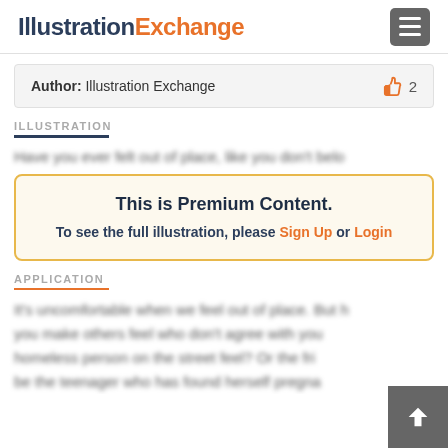IllustrationExchange
Author: Illustration Exchange  👍 2
ILLUSTRATION
Have you ever felt out of place, like you don't belo...
This is Premium Content. To see the full illustration, please Sign Up or Login
APPLICATION
It's uncomfortable when we feel out of place. But how do you make others feel who don't agree with you? Or the homeless person on the street feel? Or the friend, or perhaps be the teenager who has found herself pregna...